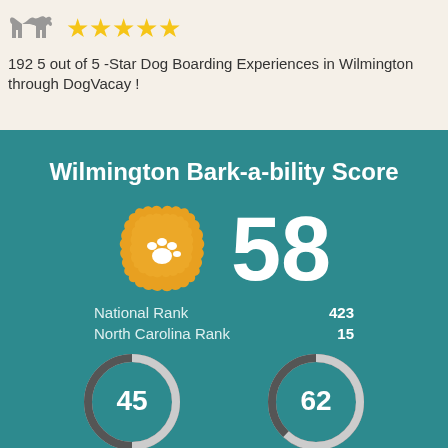[Figure (infographic): Dog silhouette icon with five yellow stars rating]
192 5 out of 5 -Star Dog Boarding Experiences in Wilmington through DogVacay !
Wilmington Bark-a-bility Score
[Figure (infographic): Orange paw print badge with score 58, National Rank 423, North Carolina Rank 15]
[Figure (donut-chart): Two circular gauge indicators showing scores 45 and 62]